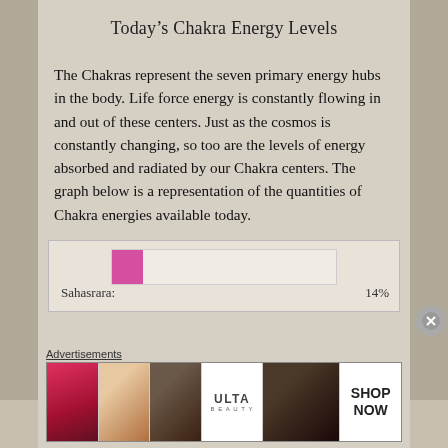Today's Chakra Energy Levels
The Chakras represent the seven primary energy hubs in the body. Life force energy is constantly flowing in and out of these centers. Just as the cosmos is constantly changing, so too are the levels of energy absorbed and radiated by our Chakra centers. The graph below is a representation of the quantities of Chakra energies available today.
[Figure (bar-chart): Sahasrara]
Advertisements